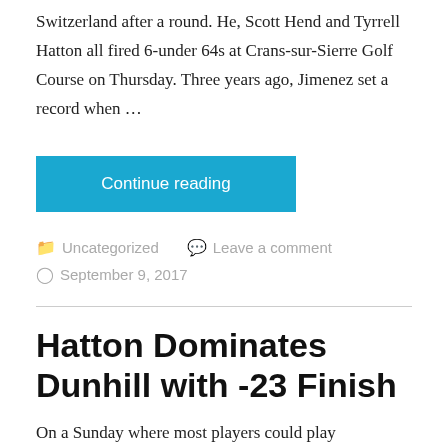Switzerland after a round. He, Scott Hend and Tyrrell Hatton all fired 6-under 64s at Crans-sur-Sierre Golf Course on Thursday. Three years ago, Jimenez set a record when …
Continue reading
Uncategorized   Leave a comment
September 9, 2017
Hatton Dominates Dunhill with -23 Finish
On a Sunday where most players could play